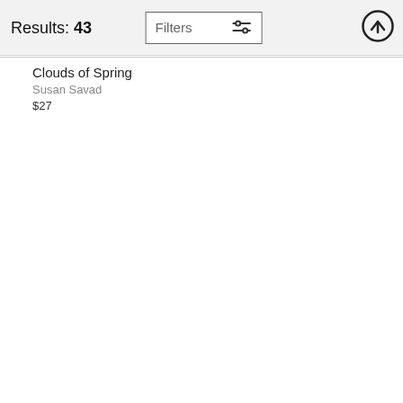Results: 43
[Figure (screenshot): Filters button with sliders icon]
[Figure (screenshot): Upload/scroll-to-top circle arrow button]
Clouds of Spring
Susan Savad
$27